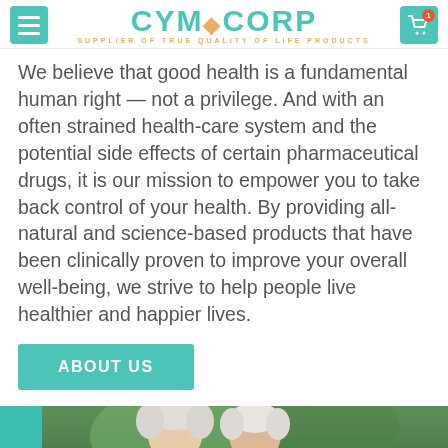CYMCORP — SUPPLIER OF TRUE QUALITY OF LIFE PRODUCTS
We believe that good health is a fundamental human right — not a privilege. And with an often strained health-care system and the potential side effects of certain pharmaceutical drugs, it is our mission to empower you to take back control of your health. By providing all-natural and science-based products that have been clinically proven to improve your overall well-being, we strive to help people live healthier and happier lives.
ABOUT US
[Figure (photo): Two elderly people (gray-haired) photographed outdoors with a blurred green background, partially visible at the bottom of the page. A teal/green vertical bar is visible on the left edge.]